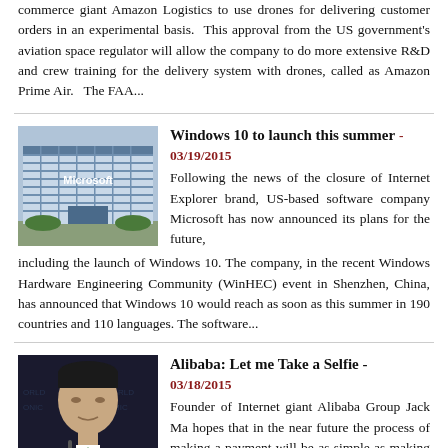commerce giant Amazon Logistics to use drones for delivering customer orders in an experimental basis. This approval from the US government's aviation space regulator will allow the company to do more extensive R&D and crew training for the delivery system with drones, called as Amazon Prime Air. The FAA...
Windows 10 to launch this summer - 03/19/2015
[Figure (photo): Microsoft building exterior with logo and glass facade]
Following the news of the closure of Internet Explorer brand, US-based software company Microsoft has now announced its plans for the future, including the launch of Windows 10. The company, in the recent Windows Hardware Engineering Community (WinHEC) event in Shenzhen, China, has announced that Windows 10 would reach as soon as this summer in 190 countries and 110 languages. The software...
Alibaba: Let me Take a Selfie - 03/18/2015
[Figure (photo): Jack Ma, founder of Alibaba Group, speaking at a conference]
Founder of Internet giant Alibaba Group Jack Ma hopes that in the near future the process of making a payment will be as simple as making selfie, in the truest sense. At the presentation a new payment system, where the confirmation will be just a snapshot of the payer's face, was announced. Selfie introduction is intended to ensure safety when making payments... the